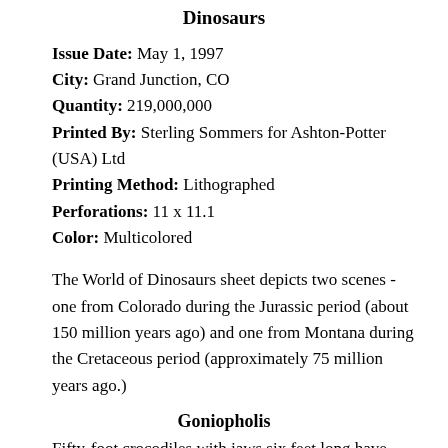Dinosaurs
Issue Date: May 1, 1997
City: Grand Junction, CO
Quantity: 219,000,000
Printed By: Sterling Sommers for Ashton-Potter (USA) Ltd
Printing Method: Lithographed
Perforations: 11 x 11.1
Color: Multicolored
The World of Dinosaurs sheet depicts two scenes - one from Colorado during the Jurassic period (about 150 million years ago) and one from Montana during the Cretaceous period (approximately 75 million years ago.)
Goniopholis
Fifty-foot crocodiles with jaws six feet long have never been seen, but fossilized bones from these massive creatures have been found. Goniopholis lived during the time of the great dinosaurs, and except for its size, was